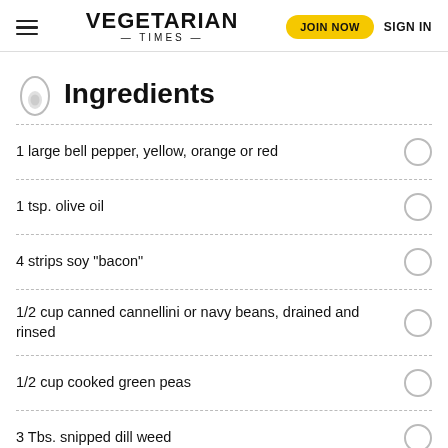VEGETARIAN TIMES | JOIN NOW | SIGN IN
Ingredients
1 large bell pepper, yellow, orange or red
1 tsp. olive oil
4 strips soy "bacon"
1/2 cup canned cannellini or navy beans, drained and rinsed
1/2 cup cooked green peas
3 Tbs. snipped dill weed